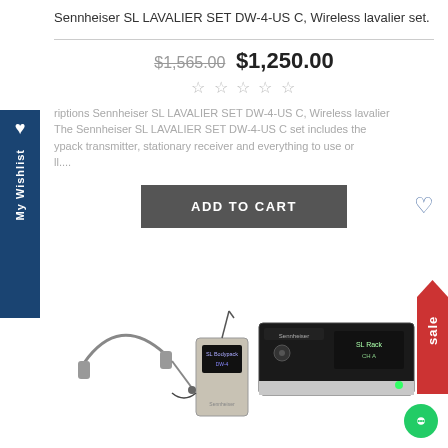Sennheiser SL LAVALIER SET DW-4-US C, Wireless lavalier set.
$1,565.00  $1,250.00
☆☆☆☆☆
riptions Sennheiser SL LAVALIER SET DW-4-US C, Wireless lavalier The Sennheiser SL LAVALIER SET DW-4-US C set includes the ypack transmitter, stationary receiver and everything to use or ll....
ADD TO CART
sale
[Figure (photo): Sennheiser wireless lavalier set showing bodypack transmitter with headset microphone and stationary rack receiver unit]